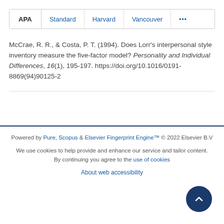APA  Standard  Harvard  Vancouver  ...
McCrae, R. R., & Costa, P. T. (1994). Does Lorr's interpersonal style inventory measure the five-factor model? Personality and Individual Differences, 16(1), 195-197. https://doi.org/10.1016/0191-8869(94)90125-2
Powered by Pure, Scopus & Elsevier Fingerprint Engine™ © 2022 Elsevier B.V
We use cookies to help provide and enhance our service and tailor content. By continuing you agree to the use of cookies
About web accessibility